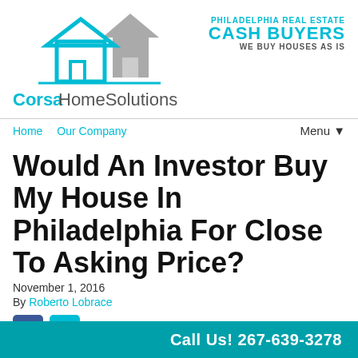[Figure (logo): CorsaHomeSolutions logo with two house icons and company name in teal/grey]
PHILADELPHIA REAL ESTATE CASH BUYERS WE BUY HOUSES AS IS
Home   Our Company   Menu▼
Would An Investor Buy My House In Philadelphia For Close To Asking Price?
November 1, 2016
By Roberto Lobrace
[Figure (other): Facebook and Twitter social share buttons]
Call Us! 267-639-3278